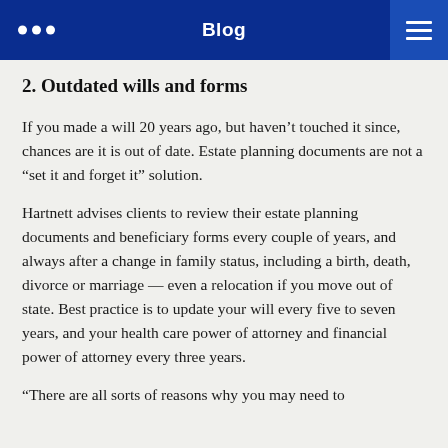Blog
2. Outdated wills and forms
If you made a will 20 years ago, but haven’t touched it since, chances are it is out of date. Estate planning documents are not a “set it and forget it” solution.
Hartnett advises clients to review their estate planning documents and beneficiary forms every couple of years, and always after a change in family status, including a birth, death, divorce or marriage — even a relocation if you move out of state. Best practice is to update your will every five to seven years, and your health care power of attorney and financial power of attorney every three years.
“There are all sorts of reasons why you may need to